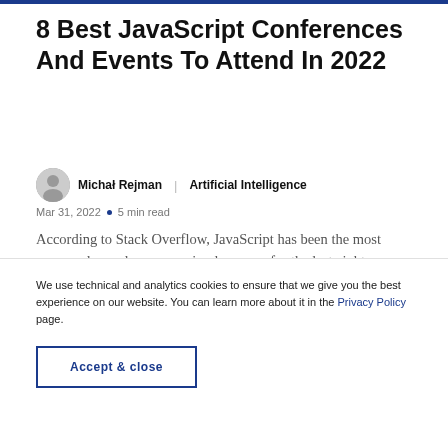8 Best JavaScript Conferences And Events To Attend In 2022
Michał Rejman | Artificial Intelligence
Mar 31, 2022 • 5 min read
According to Stack Overflow, JavaScript has been the most commonly used programming language for the last eight years. This language is very widely used, so more and more developers decide to improve their knowledɡ…
We use technical and analytics cookies to ensure that we give you the best experience on our website. You can learn more about it in the Privacy Policy page.
Accept & close